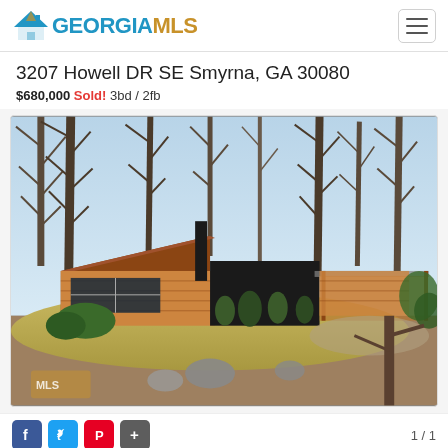GEORGIA MLS
3207 Howell DR SE Smyrna, GA 30080
$680,000 Sold! 3bd / 2fb
[Figure (photo): Exterior photo of a mid-century modern ranch-style home with wood siding, black accent wall, flat/low-pitched roof, large windows, surrounded by bare trees, shrubs, landscaping, and a lawn in winter/early spring. Georgia MLS watermark visible in lower left.]
1 / 1